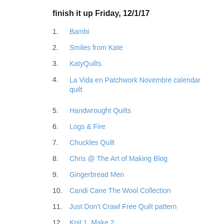finish it up Friday, 12/1/17
1. Bambi
2. Smiles from Kate
3. KatyQuilts
4. La Vida en Patchwork Novembre calendar quilt
5. Handwrought Quilts
6. Logs & Fire
7. Chuckles Quilt
8. Chris @ The Art of Making Blog
9. Gingerbread Men
10. Candi Cane The Wool Collection
11. Just Don't Crawl Free Quilt pattern
12. Knit 1, Make 2
13. On Ringo Lake--Clue 1 🔗
14. Becca Pouch @ Savor Every Stitch
55. Kitty Wilki
56. tisha @ q
57. maggie fe
58. The Joyfu
59. Sarah
60. Giant Hex
61. Tumbler Q
62. Christmas
63. Strawberr
64. The Inside
65. deana
66. Izzy @ Di
67. My Imper
68. Johnna @